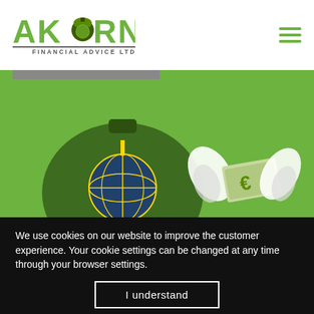[Figure (logo): Akorn Financial Advice Ltd. logo with green acorn icon and text]
[Figure (illustration): Green background illustration showing a money bag with a globe ornament and a winged banknote with euro symbol on green background]
We use cookies on our website to improve the customer experience. Your cookie settings can be changed at any time through your browser settings.
I understand